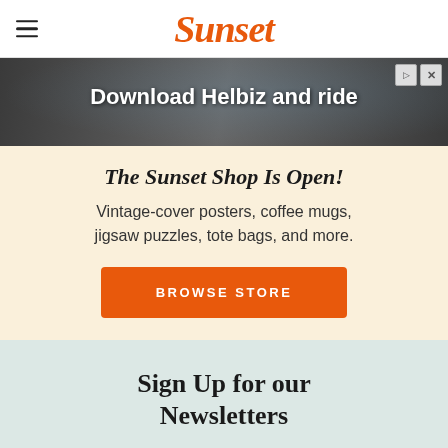Sunset
[Figure (screenshot): Advertisement banner for Helbiz ride service showing 'Download Helbiz and ride' with a dark background image of a scooter/bike handlebar]
The Sunset Shop Is Open!
Vintage-cover posters, coffee mugs, jigsaw puzzles, tote bags, and more.
BROWSE STORE
Sign Up for our Newsletters
Get fresh recipes, wine pairings, weekend getaway ideas, regional